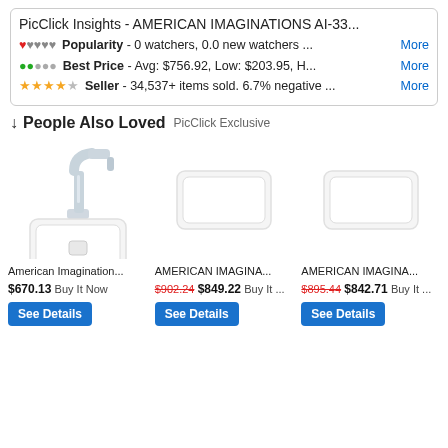PicClick Insights - AMERICAN IMAGINATIONS AI-33...
Popularity - 0 watchers, 0.0 new watchers ... More
Best Price - Avg: $756.92, Low: $203.95, H... More
Seller - 34,537+ items sold. 6.7% negative ... More
People Also Loved PicClick Exclusive
[Figure (photo): Bathroom faucet and white rectangular sink basin by American Imaginations]
American Imagination...
$670.13 Buy It Now
AMERICAN IMAGINA...
$902.24 $849.22 Buy It ...
AMERICAN IMAGINA...
$895.44 $842.71 Buy It ...